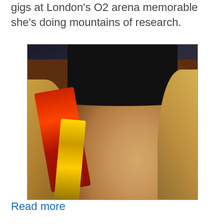gigs at London's O2 arena memorable she's doing mountains of research.
[Figure (photo): A blonde woman wearing a black top hat and black outfit, smiling and holding a gold and red award trophy close to her face. Dark background.]
Read more